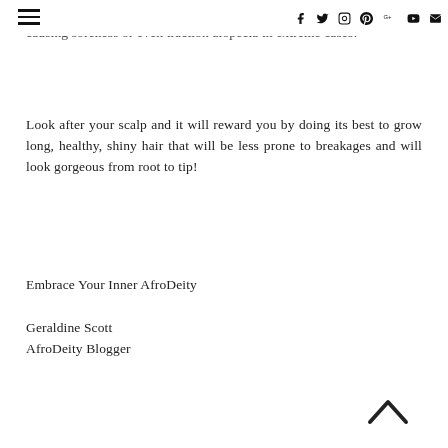☰  f  t  ◻  p  G+  ▶  ✉
your scalp, as too-tight ponytails and braids can pull on your scalp, causing soreness or even traction alopecia in extreme cases!
Look after your scalp and it will reward you by doing its best to grow long, healthy, shiny hair that will be less prone to breakages and will look gorgeous from root to tip!
Embrace Your Inner AfroDeity
Geraldine Scott
AfroDeity Blogger